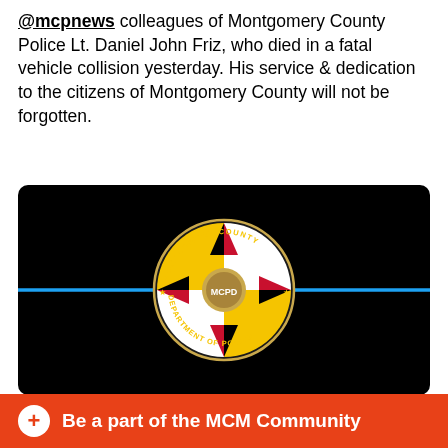@mcpnews colleagues of Montgomery County Police Lt. Daniel John Friz, who died in a fatal vehicle collision yesterday. His service & dedication to the citizens of Montgomery County will not be forgotten.
[Figure (photo): Montgomery County Department of Police badge/seal on a black background with a thin blue line across the center. The circular seal reads 'MONTGOMERY COUNTY DEPARTMENT OF POLICE' with the Maryland state flag design and a gold badge in the center.]
12:15 PM · Nov 2, 2021
21   Reply   Copy link
Be a part of the MCM Community